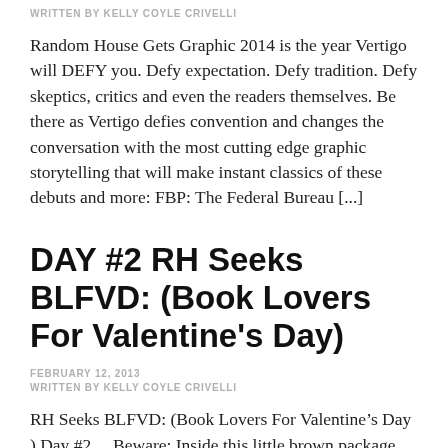WRITTEN BY KELLY COYLE CRIVELLI
Random House Gets Graphic 2014 is the year Vertigo will DEFY you. Defy expectation. Defy tradition. Defy skeptics, critics and even the readers themselves. Be there as Vertigo defies convention and changes the conversation with the most cutting edge graphic storytelling that will make instant classics of these debuts and more: FBP: The Federal Bureau [...]
DAY #2 RH Seeks BLFVD: (Book Lovers For Valentine's Day)
FEBRUARY 12, 2013
WRITTEN BY KELLY COYLE CRIVELLI
RH Seeks BLFVD: (Book Lovers For Valentine's Day ) Day #2… Beware: Inside this little brown package may be  the new love of your life...(in